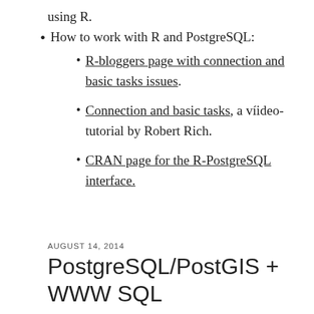using R.
How to work with R and PostgreSQL:
R-bloggers page with connection and basic tasks issues.
Connection and basic tasks, a víideo-tutorial by Robert Rich.
CRAN page for the R-PostgreSQL interface.
AUGUST 14, 2014
PostgreSQL/PostGIS + WWW SQL